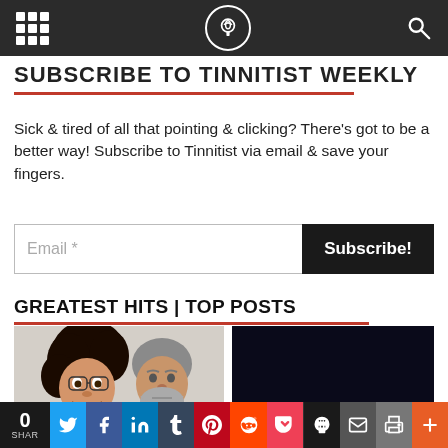Tinnitist website navigation bar
SUBSCRIBE TO TINNITIST WEEKLY
Sick & tired of all that pointing & clicking? There's got to be a better way! Subscribe to Tinnitist via email & save your fingers.
Email * [Subscribe!]
GREATEST HITS | TOP POSTS
[Figure (photo): Two men posing for a photo, one with curly dark hair smiling broadly, the other with grey hair and beard looking seriously at the camera]
[Figure (photo): Dark colorful concert/band promotional image with glowing lights and multiple figures, with a coffee cup badge overlay in bottom right]
0 SHAR | Share buttons: Twitter, Facebook, LinkedIn, Tumblr, Pinterest, Reddit, Pocket, Skull, Email, Print, Plus